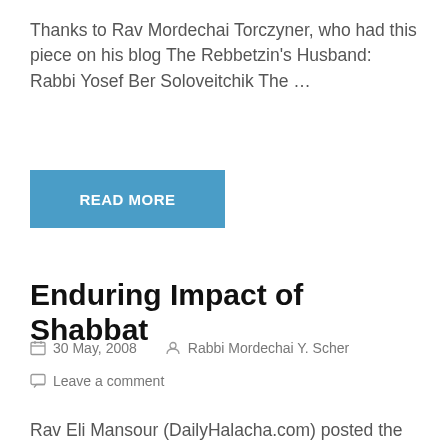Thanks to Rav Mordechai Torczyner, who had this piece on his blog The Rebbetzin's Husband: Rabbi Yosef Ber Soloveitchik The …
READ MORE
Enduring Impact of Shabbat
30 May, 2008   Rabbi Mordechai Y. Scher
Leave a comment
Rav Eli Mansour (DailyHalacha.com) posted the